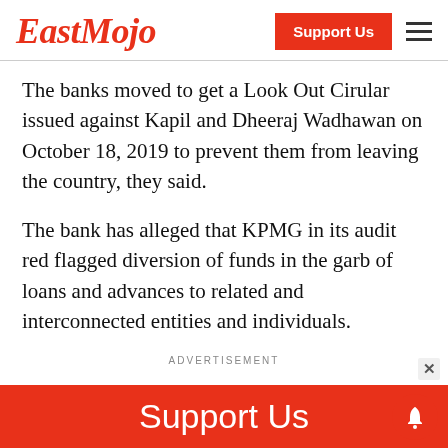EastMojo
The banks moved to get a Look Out Cirular issued against Kapil and Dheeraj Wadhawan on October 18, 2019 to prevent them from leaving the country, they said.
The bank has alleged that KPMG in its audit red flagged diversion of funds in the garb of loans and advances to related and interconnected entities and individuals.
ADVERTISEMENT
Support Us